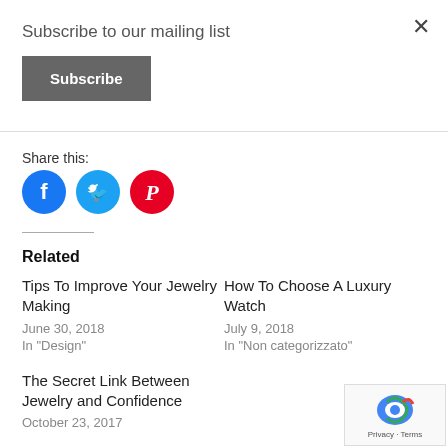Subscribe to our mailing list
Subscribe
Share this:
[Figure (illustration): Social media share icons: Facebook (blue circle), Twitter (light blue circle), Pinterest (red circle)]
Related
Tips To Improve Your Jewelry Making
June 30, 2018
In "Design"
How To Choose A Luxury Watch
July 9, 2018
In "Non categorizzato"
The Secret Link Between Jewelry and Confidence
October 23, 2017